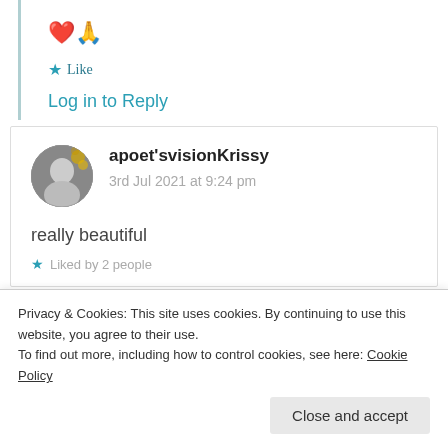❤️🙏
★ Like
Log in to Reply
apoet'svisionKrissy
3rd Jul 2021 at 9:24 pm
really beautiful
★ Liked by 2 people
Privacy & Cookies: This site uses cookies. By continuing to use this website, you agree to their use.
To find out more, including how to control cookies, see here: Cookie Policy
Close and accept